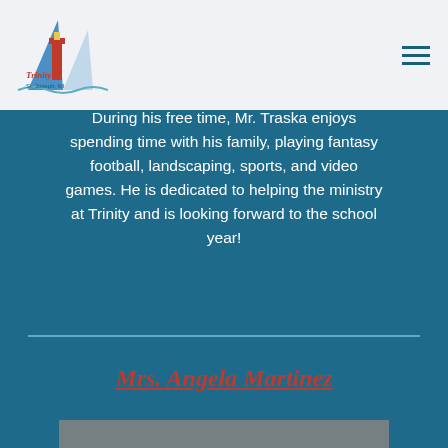Trinity St. Joseph, MI — navigation header with logo and hamburger menu
21 years, and they have three children. Stryker will be a junior at Michigan Lutheran this year, Peytra will be in 8th grade at Trinity, along with Zion who will be in 5th grade. During his free time, Mr. Traska enjoys spending time with his family, playing fantasy football, landscaping, sports, and video games. He is dedicated to helping the ministry at Trinity and is looking forward to the school year!
Mrs. Angela Martinez
[Figure (photo): Partial photo visible at bottom of page]